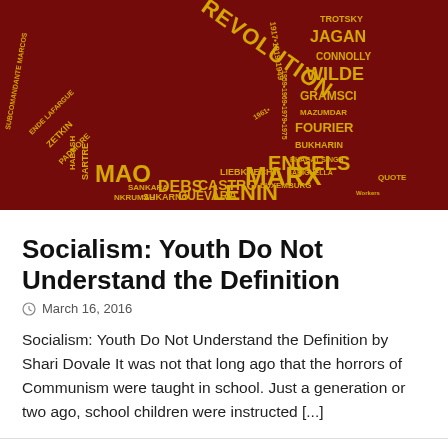[Figure (illustration): Dark red background with a hammer and sickle shape formed by socialist/communist names and dates in yellow text. Names include TROTSKY, JAGAN, CONNOLLY, WILDE, GRAMSCI, MAZUMDAR, FOURIER, BUKHARIN, BHAGAT SINGH, BARIGHELLA, ENGELS, LUXEMBURG, MARX, LIEBKNECHT, LENIN, CASTRO, GUEVARA, DEBS, SUKARNO, SANKARA, NKRUMAH, MAO, SARTRE, HABASH, PADMORE, ZETKIN, ENDE LAFARGUE, SUBCOMANDANTE MARCOS and dates like 1917, 1919, 1949, 1959, 1969, 1979, 1975, REVOLUTION text.]
Socialism: Youth Do Not Understand the Definition
March 16, 2016
Socialism: Youth Do Not Understand the Definition by Shari Dovale It was not that long ago that the horrors of Communism were taught in school. Just a generation or two ago, school children were instructed [...]